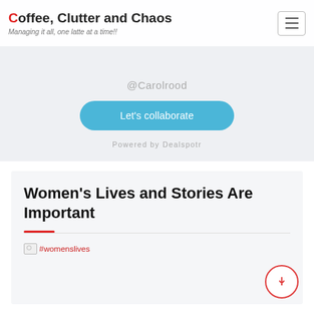Coffee, Clutter and Chaos — Managing it all, one latte at a time!!
@Carolrood
Let's collaborate
Powered by Dealspotr
Women's Lives and Stories Are Important
[Figure (other): Broken image placeholder with alt text #womenslives]